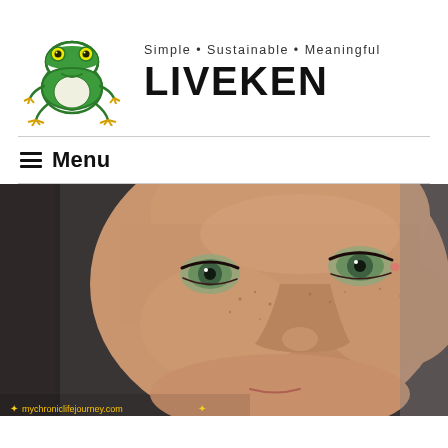[Figure (logo): Green frog illustration logo for LIVEKEN website with tagline Simple • Sustainable • Meaningful and LIVEKEN brand name]
LIVEKEN
Simple • Sustainable • Meaningful
≡ Menu
[Figure (photo): Close-up portrait photo of a woman's face with green eyes, freckles, and a slight smile. Watermark text reads 'mychroniclifejourney.com' at bottom left.]